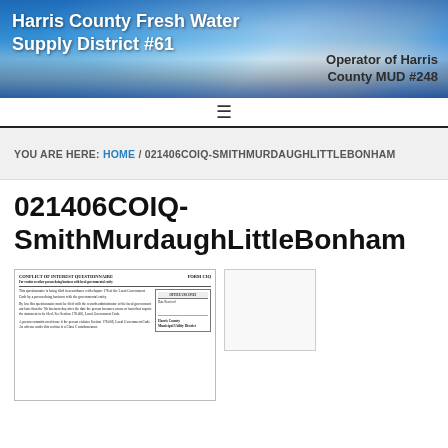Harris County Fresh Water Supply District #61 | Operator of Harris County MUD #248
≡
YOU ARE HERE: HOME / 021406COIQ-SMITHMURDAUGHLITTLEBONHAM
021406COIQ-SmithMurdaughLittleBonham
[Figure (other): Thumbnail image of a Conflict of Interest Questionnaire (FORM CIQ) document for Harris County Municipal Utility District]